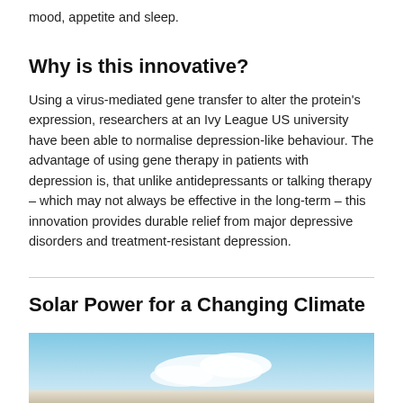mood, appetite and sleep.
Why is this innovative?
Using a virus-mediated gene transfer to alter the protein's expression, researchers at an Ivy League US university have been able to normalise depression-like behaviour. The advantage of using gene therapy in patients with depression is, that unlike antidepressants or talking therapy – which may not always be effective in the long-term – this innovation provides durable relief from major depressive disorders and treatment-resistant depression.
Solar Power for a Changing Climate
[Figure (photo): Partial view of a solar panel or related outdoor scene against a blue sky background]